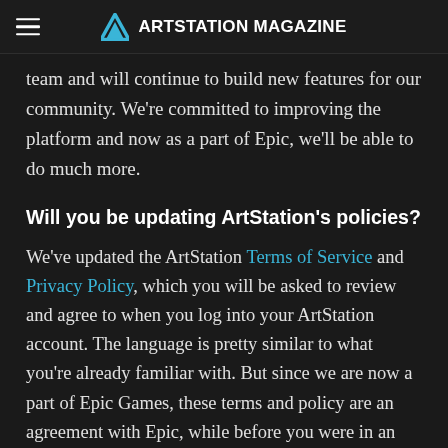≡  ARTSTATION MAGAZINE
team and will continue to build new features for our community. We're committed to improving the platform and now as a part of Epic, we'll be able to do much more.
Will you be updating ArtStation's policies?
We've updated the ArtStation Terms of Service and Privacy Policy, which you will be asked to review and agree to when you log into your ArtStation account. The language is pretty similar to what you're already familiar with. But since we are now a part of Epic Games, these terms and policy are an agreement with Epic, while before you were in an agreement with